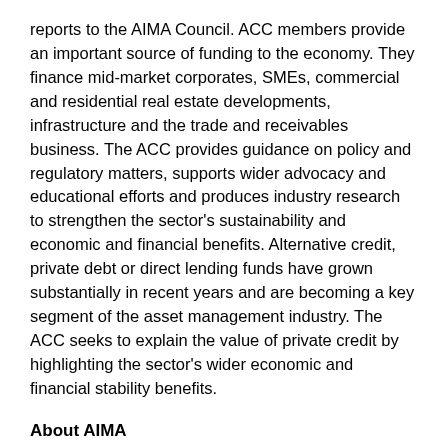reports to the AIMA Council.  ACC members provide an important source of funding to the economy.  They finance mid-market corporates, SMEs, commercial and residential real estate developments, infrastructure and the trade and receivables business.  The ACC provides guidance on policy and regulatory matters, supports wider advocacy and educational efforts and produces industry research to strengthen the sector's sustainability and economic and financial benefits.  Alternative credit, private debt or direct lending funds have grown substantially in recent years and are becoming a key segment of the asset management industry.  The ACC seeks to explain the value of private credit by highlighting the sector's wider economic and financial stability benefits.
About AIMA
The Alternative Investment Management Association (AIMA) is the global representative of the alternative investment industry, with around 2,000 corporate members in over 60 countries. AIMA's fund manager members collectively manage more than $2 trillion in hedge fund and private credit assets. AIMA draws upon the expertise and diversity of its